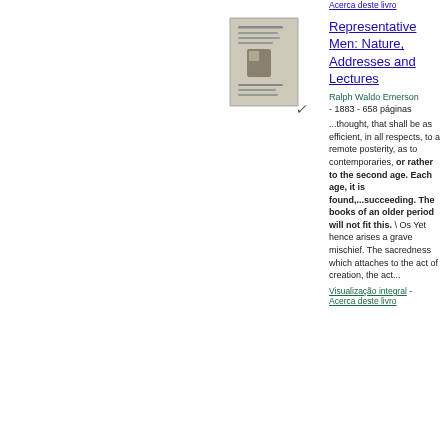Acerca deste livro
[Figure (illustration): Small thumbnail image of a book cover for 'Representative Men: Nature, Addresses and Lectures' by Ralph Waldo Emerson, with a checkmark/pencil mark below it]
Representative Men: Nature, Addresses and Lectures
Ralph Waldo Emerson
- 1883 - 658 páginas
...thought, that shall be as efficient, in all respects, to a remote posterity, as to contemporaries, or rather to the second age. Each age, it is found,...succeeding. The books of an older period will not fit this. \ Os Yet hence arises a grave mischief. The sacredness which attaches to the act of creation, the act...
Visualização integral - Acerca deste livro